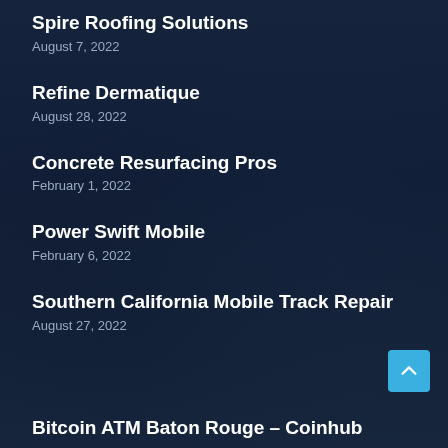Spire Roofing Solutions
August 7, 2022
Refine Dermatique
August 28, 2022
Concrete Resurfacing Pros
February 1, 2022
Power Swift Mobile
February 6, 2022
Southern California Mobile Track Repair
August 27, 2022
Bitcoin ATM Baton Rouge – Coinhub